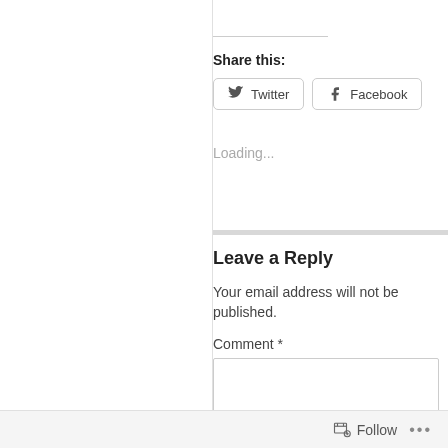Share this:
Twitter  Facebook
Loading...
Leave a Reply
Your email address will not be published.
Comment *
Follow  ...